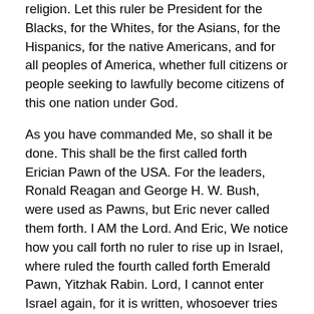religion. Let this ruler be President for the Blacks, for the Whites, for the Asians, for the Hispanics, for the native Americans, and for all peoples of America, whether full citizens or people seeking to lawfully become citizens of this one nation under God.
As you have commanded Me, so shall it be done. This shall be the first called forth Erician Pawn of the USA. For the leaders, Ronald Reagan and George H. W. Bush, were used as Pawns, but Eric never called them forth. I AM the Lord. And Eric, We notice how you call forth no ruler to rise up in Israel, where ruled the fourth called forth Emerald Pawn, Yitzhak Rabin. Lord, I cannot enter Israel again, for it is written, whosoever tries to lift that stone will severely hurt himself. (Zechariah 12:3).
You are correct, lord Azurite. For only a Jew is permitted to...